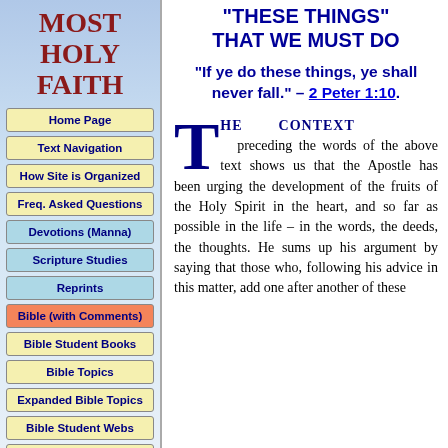MOST HOLY FAITH
Home Page
Text Navigation
How Site is Organized
Freq. Asked Questions
Devotions (Manna)
Scripture Studies
Reprints
Bible (with Comments)
Bible Student Books
Bible Topics
Expanded Bible Topics
Bible Student Webs
Miscellaneous
"THESE THINGS" THAT WE MUST DO
"If ye do these things, ye shall never fall." – 2 Peter 1:10.
THE CONTEXT preceding the words of the above text shows us that the Apostle has been urging the development of the fruits of the Holy Spirit in the heart, and so far as possible in the life – in the words, the deeds, the thoughts. He sums up his argument by saying that those who, following his advice in this matter, add one after another of these